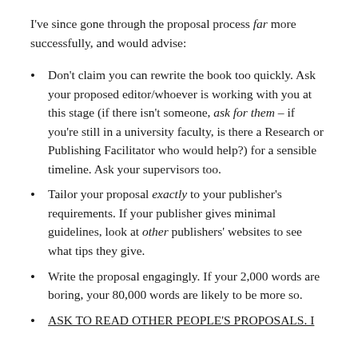I've since gone through the proposal process far more successfully, and would advise:
Don't claim you can rewrite the book too quickly. Ask your proposed editor/whoever is working with you at this stage (if there isn't someone, ask for them – if you're still in a university faculty, is there a Research or Publishing Facilitator who would help?) for a sensible timeline. Ask your supervisors too.
Tailor your proposal exactly to your publisher's requirements. If your publisher gives minimal guidelines, look at other publishers' websites to see what tips they give.
Write the proposal engagingly. If your 2,000 words are boring, your 80,000 words are likely to be more so.
ASK TO READ OTHER PEOPLE'S PROPOSALS. I